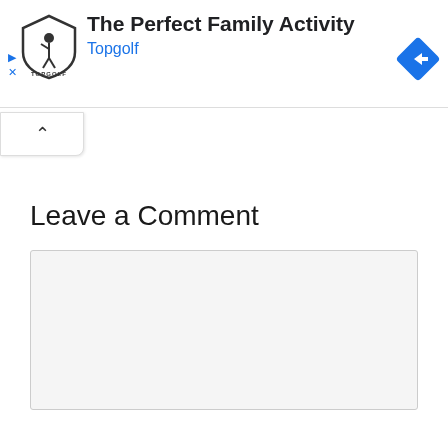[Figure (screenshot): Topgolf advertisement banner with logo, title 'The Perfect Family Activity', subtitle 'Topgolf', a blue diamond navigation icon, play button and close (X) controls on the left.]
[Figure (other): Collapse/chevron up button tab below the ad banner]
Leave a Comment
[Figure (other): Empty comment text input box with light grey background]